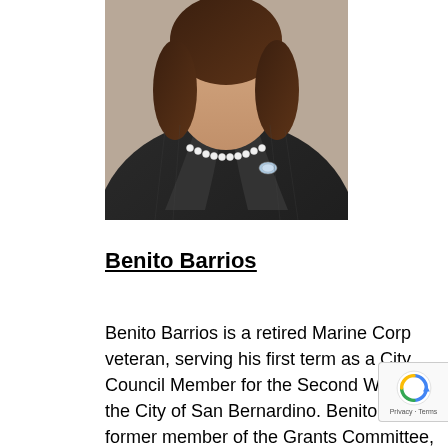[Figure (photo): Portrait photo of a woman in a dark pinstripe blazer wearing a pearl necklace and a brooch, cropped to show neck and shoulders area.]
Benito Barrios
Benito Barrios is a retired Marine Corp veteran, serving his first term as a City Council Member for the Second Ward in the City of San Bernardino. Benito was a former member of the Grants Committee, has been appointed to a currently serves as a member of the